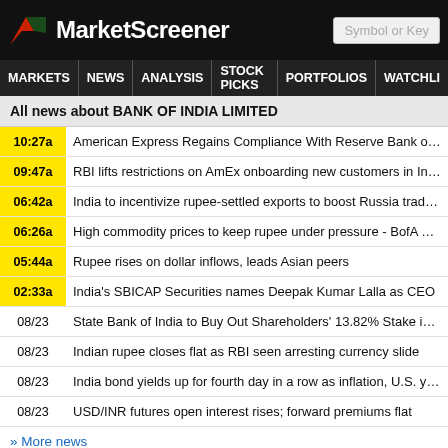MarketScreener | Symbol or Key
MARKETS NEWS ANALYSIS STOCK PICKS PORTFOLIOS WATCHLI
All news about BANK OF INDIA LIMITED
10:27a American Express Regains Compliance With Reserve Bank of India's Da
09:47a RBI lifts restrictions on AmEx onboarding new customers in India
06:42a India to incentivize rupee-settled exports to boost Russia trade -sources
06:26a High commodity prices to keep rupee under pressure - BofA Securities
05:44a Rupee rises on dollar inflows, leads Asian peers
02:33a India's SBICAP Securities names Deepak Kumar Lalla as CEO
08/23 State Bank of India to Buy Out Shareholders' 13.82% Stake in Arm SBI G
08/23 Indian rupee closes flat as RBI seen arresting currency slide
08/23 India bond yields up for fourth day in a row as inflation, U.S. yields weigh
08/23 USD/INR futures open interest rises; forward premiums flat
» More news
Analyst Recommendations on BANK OF INDIA LIMITED